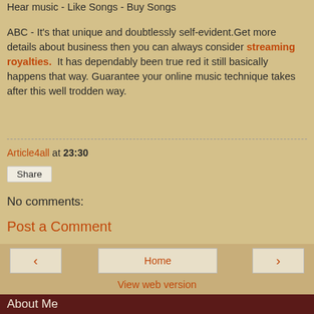Hear music - Like Songs - Buy Songs
ABC - It's that unique and doubtlessly self-evident. Get more details about business then you can always consider streaming royalties. It has dependably been true red it still basically happens that way. Guarantee your online music technique takes after this well trodden way.
Article4all at 23:30
Share
No comments:
Post a Comment
Home
View web version
About Me